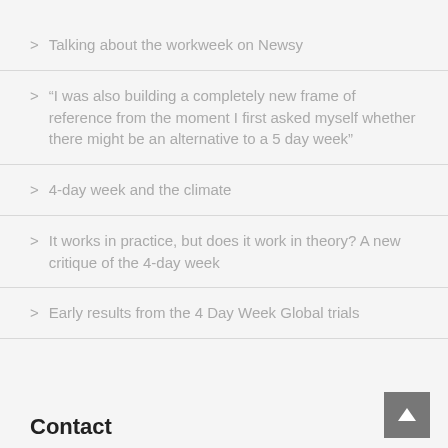Talking about the workweek on Newsy
“I was also building a completely new frame of reference from the moment I first asked myself whether there might be an alternative to a 5 day week”
4-day week and the climate
It works in practice, but does it work in theory? A new critique of the 4-day week
Early results from the 4 Day Week Global trials
Contact